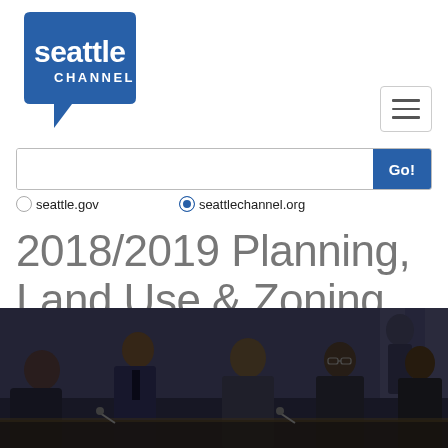[Figure (logo): Seattle Channel logo — white speech bubble shape on dark blue background with 'seattle CHANNEL' text in white]
[Figure (screenshot): Hamburger/navigation menu button icon with three horizontal lines, light gray border]
[Figure (screenshot): Search bar with text input field and blue 'Go!' button on the right]
○seattle.gov   ●seattlechannel.org
2018/2019 Planning, Land Use & Zoning Committee
[Figure (photo): Video thumbnail showing a committee meeting room with several people in suits seated at a table, dark curtains in background]